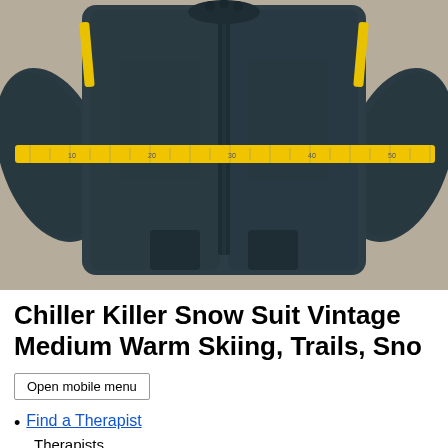[Figure (photo): A dark navy/black one-piece snow suit laid flat on a beige carpet. A yellow measuring tape is stretched horizontally across the chest area of the suit, measuring its width.]
Chiller Killer Snow Suit Vintage Medium Warm Skiing, Trails, Sno
Open mobile menu
Find a Therapist
Therapists